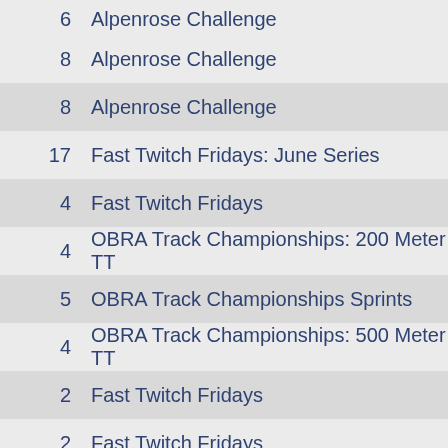| # | Event |
| --- | --- |
| 6 | Alpenrose Challenge |
| 8 | Alpenrose Challenge |
| 8 | Alpenrose Challenge |
| 17 | Fast Twitch Fridays: June Series |
| 4 | Fast Twitch Fridays |
| 4 | OBRA Track Championships: 200 Meter TT |
| 5 | OBRA Track Championships Sprints |
| 4 | OBRA Track Championships: 500 Meter TT |
| 2 | Fast Twitch Fridays |
| 2 | Fast Twitch Fridays |
| 1 | Alpenrose Thursday Series: May Series |
| 7 | Alpenrose Thursday Series: May Series |